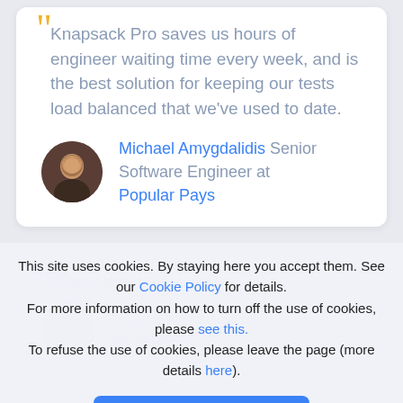Knapsack Pro saves us hours of engineer waiting time every week, and is the best solution for keeping our tests load balanced that we've used to date.
Michael Amygdalidis Senior Software Engineer at Popular Pays
This site uses cookies. By staying here you accept them. See our Cookie Policy for details. For more information on how to turn off the use of cookies, please see this. To refuse the use of cookies, please leave the page (more details here).
I Agree